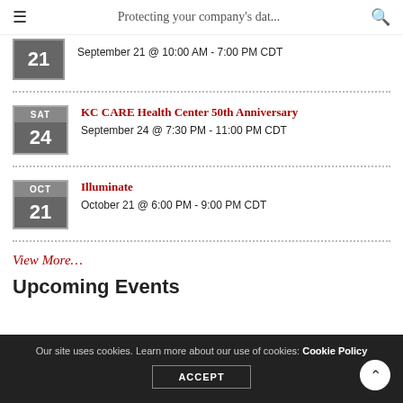Protecting your company's dat...
September 21 @ 10:00 AM - 7:00 PM CDT
KC CARE Health Center 50th Anniversary | September 24 @ 7:30 PM - 11:00 PM CDT
Illuminate | October 21 @ 6:00 PM - 9:00 PM CDT
View More…
Upcoming Events
Our site uses cookies. Learn more about our use of cookies: Cookie Policy ACCEPT